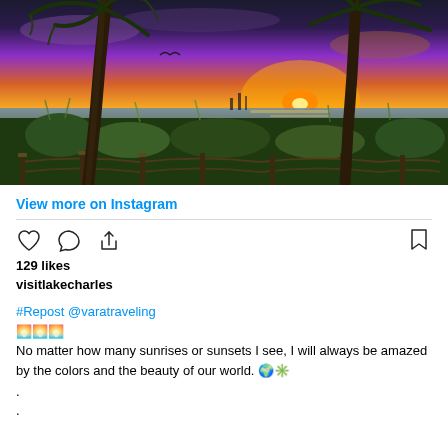[Figure (photo): Sunset landscape with palm tree silhouettes in foreground, water and industrial structures in background with vivid orange and golden sky]
View more on Instagram
129 likes
visitlakecharles
#Repost @varatraveling
🌅🌅🌅
No matter how many sunrises or sunsets I see, I will always be amazed by the colors and the beauty of our world. 🌍✳️
.
.